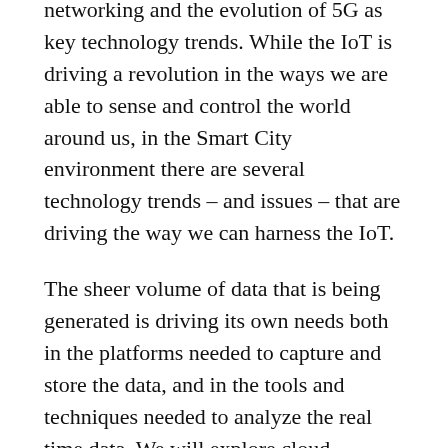networking and the evolution of 5G as key technology trends. While the IoT is driving a revolution in the ways we are able to sense and control the world around us, in the Smart City environment there are several technology trends – and issues – that are driving the way we can harness the IoT.
The sheer volume of data that is being generated is driving its own needs both in the platforms needed to capture and store the data, and in the tools and techniques needed to analyze the real time data. We will explore cloud technologies in support of Smart City platforms as well as trends in Big Data technologies in the sections below.